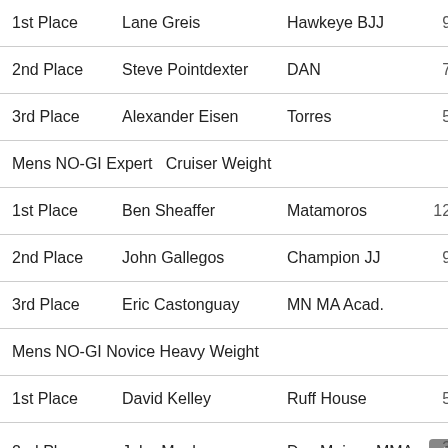| Place | Name | Club | Pts |
| --- | --- | --- | --- |
| 1st Place | Lane Greis | Hawkeye BJJ | 90 |
| 2nd Place | Steve Pointdexter | DAN | 70 |
| 3rd Place | Alexander Eisen | Torres | 50 |
| Mens NO-GI Expert   Cruiser Weight |  |  |  |
| 1st Place | Ben Sheaffer | Matamoros | 120 |
| 2nd Place | John Gallegos | Champion JJ | 90 |
| 3rd Place | Eric Castonguay | MN MA Acad. |  |
| Mens NO-GI Novice Heavy Weight |  |  |  |
| 1st Place | David Kelley | Ruff House | 50 |
| 2nd Place | John Meehan | Des Moines MMA | 30 |